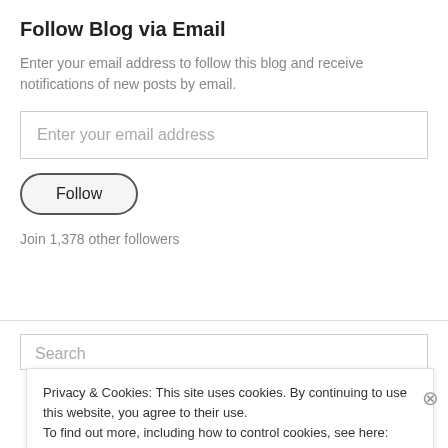Follow Blog via Email
Enter your email address to follow this blog and receive notifications of new posts by email.
[Figure (screenshot): Email input field with placeholder text 'Enter your email address']
[Figure (screenshot): Follow button with rounded border]
Join 1,378 other followers
Search
Privacy & Cookies: This site uses cookies. By continuing to use this website, you agree to their use.
To find out more, including how to control cookies, see here: Cookie Policy
Close and accept